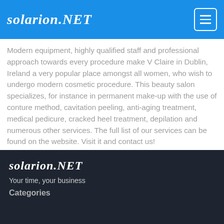solarion.NET
Modern equipment, highly qualified staff and professional approach towards every procedure make V Claire in Dublin, Ireland a very popular place amongst all women, who wish to undergo modern cosmetic procedure. This beauty salon specializes, for instance in permanent make-up with the use of conture method, cavitation peeling, anti-aging treatment, medical pedicure, cracked heel treatment, depilation and numerous other services. The full list of our services can be found on the website. Visit it and contact us!
solarion.NET
Your time, your business
Categories